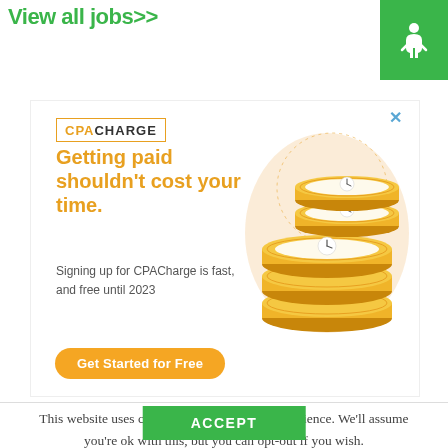View all jobs>>
[Figure (logo): Green square icon with white accessibility/person figure]
[Figure (illustration): CPACharge advertisement with stacked gold coins featuring clock faces on a peach blob background]
This website uses cookies to improve your experience. We'll assume you're ok with this, but you can opt-out if you wish.
ACCEPT